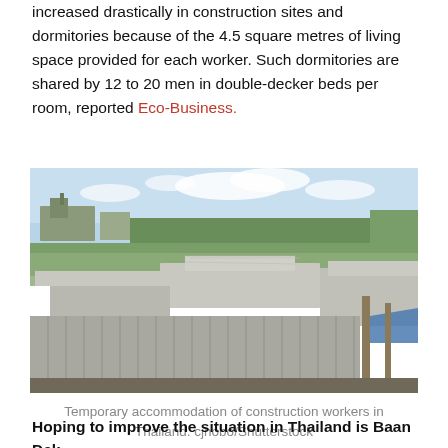increased drastically in construction sites and dormitories because of the 4.5 square metres of living space provided for each worker. Such dormitories are shared by 12 to 20 men in double-decker beds per room, reported Eco-Business.
[Figure (photo): Aerial view of temporary accommodation structures with corrugated metal roofs for construction workers in Thailand, with green fields and industrial buildings visible in the background.]
Temporary accommodation of construction workers in Thailand. cjhobo/Shutterstock
Hoping to improve the situation in Thailand is Baan Dek